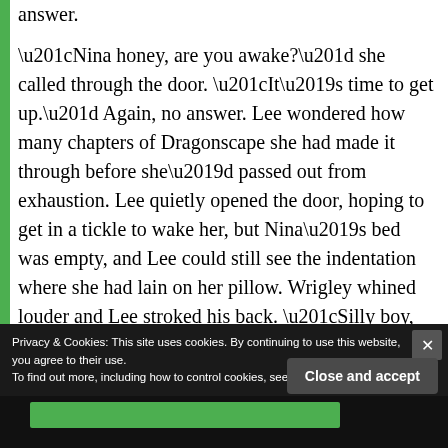answer.

“Nina honey, are you awake?” she called through the door. “It’s time to get up.” Again, no answer. Lee wondered how many chapters of Dragonscape she had made it through before she’d passed out from exhaustion. Lee quietly opened the door, hoping to get in a tickle to wake her, but Nina’s bed was empty, and Lee could still see the indentation where she had lain on her pillow. Wrigley whined louder and Lee stroked his back. “Silly boy, she’s just playing.” She said. Wrigley struggled so she put him down. He scrambled out the door in a hurry. Little guy must have worked up an appetite in the backyard
Privacy & Cookies: This site uses cookies. By continuing to use this website, you agree to their use.
To find out more, including how to control cookies, see here: Cookie Policy
Close and accept